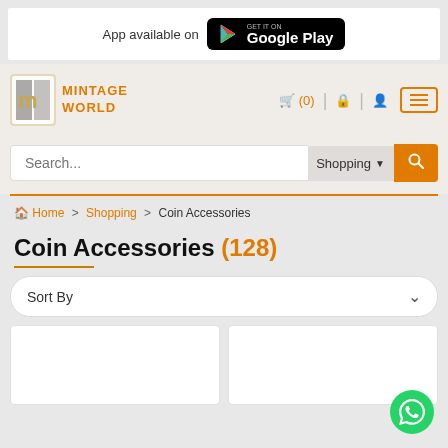App available on Google Play
[Figure (logo): Mintage World logo with orange and grey M icon]
Shopping (0) cart, lock and user icons, hamburger menu
Search... Shopping dropdown with search button
Home > Shopping > Coin Accessories
Coin Accessories (128)
Sort By
[Figure (other): Two product card placeholders (white boxes)]